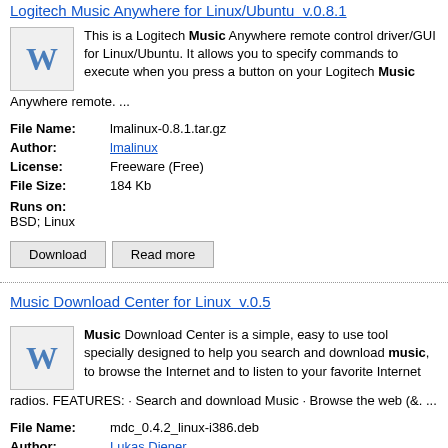Logitech Music Anywhere for Linux/Ubuntu  v.0.8.1
This is a Logitech Music Anywhere remote control driver/GUI for Linux/Ubuntu. It allows you to specify commands to execute when you press a button on your Logitech Music Anywhere remote. ...
| File Name: | lmalinux-0.8.1.tar.gz |
| Author: | lmalinux |
| License: | Freeware (Free) |
| File Size: | 184 Kb |
| Runs on: | BSD; Linux |
Download   Read more
Music Download Center for Linux  v.0.5
Music Download Center is a simple, easy to use tool specially designed to help you search and download music, to browse the Internet and to listen to your favorite Internet radios. FEATURES: · Search and download Music · Browse the web (&. ...
| File Name: | mdc_0.4.2_linux-i386.deb |
| Author: | Lukas Diener |
| License: | Freeware (Free) |